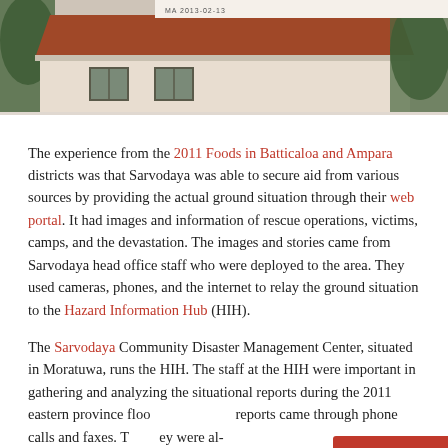[Figure (photo): Photograph of a building with terracotta/red tiled roof, light-colored walls with windows, trees on the sides, and a banner/sign at the top right.]
The experience from the 2011 Foods in Batticaloa and Ampara districts was that Sarvodaya was able to secure aid from various sources by providing the actual ground situation through their web portal. It had images and information of rescue operations, victims, camps, and the devastation. The images and stories came from Sarvodaya head office staff who were deployed to the area. They used cameras, phones, and the internet to relay the ground situation to the Hazard Information Hub (HIH).
The Sarvodaya Community Disaster Management Center, situated in Moratuwa, runs the HIH. The staff at the HIH were important in gathering and analyzing the situational reports during the 2011 eastern province floods. The reports came through phone calls and faxes. They were al-